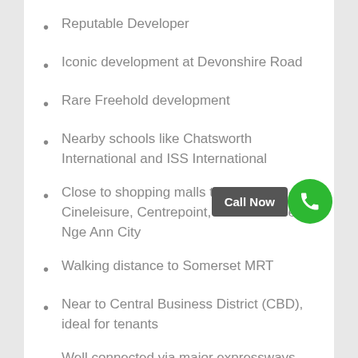Reputable Developer
Iconic development at Devonshire Road
Rare Freehold development
Nearby schools like Chatsworth International and ISS International
Close to shopping malls that include Cineleisure, Centrepoint, 313 Somerset, Nge Ann City
Walking distance to Somerset MRT
Near to Central Business District (CBD), ideal for tenants
Well connected via major expressways.
Potential high rental yield